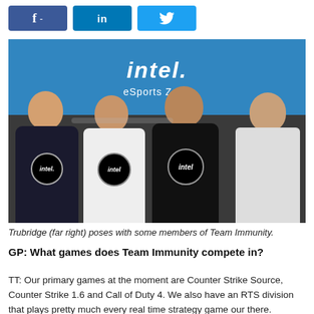[Figure (other): Social media share buttons: Facebook (f), LinkedIn (in), Twitter (bird icon) — blue rounded rectangle buttons]
[Figure (photo): Four men standing in a row in front of an Intel eSports Zone banner. Three are wearing Intel-branded jerseys. The man on the far right wears a white dress shirt. Photo taken at an esports event.]
Trubridge (far right) poses with some members of Team Immunity.
GP: What games does Team Immunity compete in?
TT: Our primary games at the moment are Counter Strike Source, Counter Strike 1.6 and Call of Duty 4. We also have an RTS division that plays pretty much every real time strategy game our there.